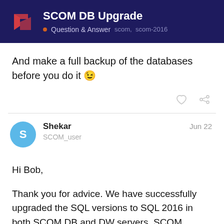SCOM DB Upgrade · Question & Answer  scom, scom-2016
And make a full backup of the databases before you do it 😉
Shekar  SCOM_user  Jun 22
Hi Bob,

Thank you for advice. We have successfully upgraded the SQL versions to SQL 2016 in both SCOM DB and DW servers. SCOM application connectivity is also successful.

But we could able to see below alert in the SCOM